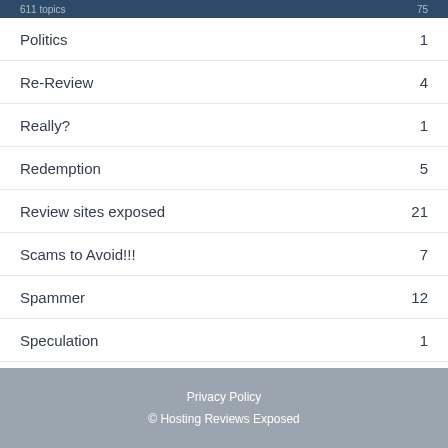611 topics  75
Politics  1
Re-Review  4
Really?  1
Redemption  5
Review sites exposed  21
Scams to Avoid!!!  7
Spammer  12
Speculation  1
Uncategorized  10
Unlimited Hosting  23
Webhostingstuff.com  86
Privacy Policy
© Hosting Reviews Exposed